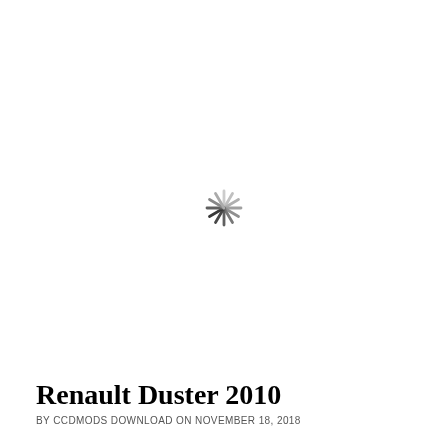[Figure (other): Loading spinner icon — circular arrangement of short radial lines transitioning from light gray at top to dark gray/black at bottom]
Renault Duster 2010
BY CCDMODS DOWNLOAD ON NOVEMBER 18, 2018